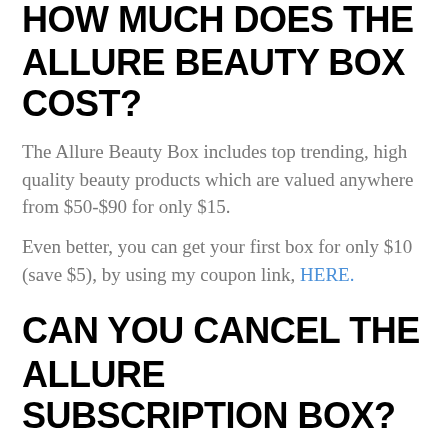HOW MUCH DOES THE ALLURE BEAUTY BOX COST?
The Allure Beauty Box includes top trending, high quality beauty products which are valued anywhere from $50-$90 for only $15.
Even better, you can get your first box for only $10 (save $5), by using my coupon link, HERE.
CAN YOU CANCEL THE ALLURE SUBSCRIPTION BOX?